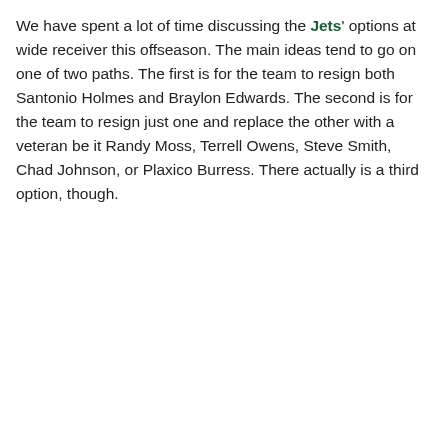We have spent a lot of time discussing the Jets' options at wide receiver this offseason. The main ideas tend to go on one of two paths. The first is for the team to resign both Santonio Holmes and Braylon Edwards. The second is for the team to resign just one and replace the other with a veteran be it Randy Moss, Terrell Owens, Steve Smith, Chad Johnson, or Plaxico Burress. There actually is a third option, though.